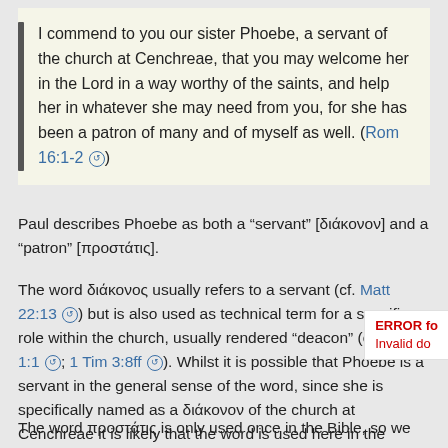I commend to you our sister Phoebe, a servant of the church at Cenchreae, that you may welcome her in the Lord in a way worthy of the saints, and help her in whatever she may need from you, for she has been a patron of many and of myself as well. (Rom 16:1-2 🔗)
Paul describes Phoebe as both a "servant" [διάκονον] and a "patron" [προστάτις].
The word διάκονος usually refers to a servant (cf. Matt 22:13 🔗) but is also used as technical term for a specific role within the church, usually rendered "deacon" (cf. Phil 1:1 🔗; 1 Tim 3:8ff 🔗). Whilst it is possible that Phoebe is a servant in the general sense of the word, since she is specifically named as a διάκονον of the church at Cenchreae it is likely that the word is used here in the technical sense. This indicates Phoebe held a special function within the church, like that described in 1 Ti...
The word προστάτις is only used once in the Bible, so we...